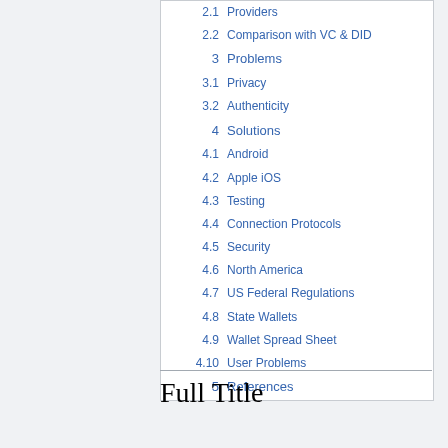2.1  Providers
2.2  Comparison with VC & DID
3  Problems
3.1  Privacy
3.2  Authenticity
4  Solutions
4.1  Android
4.2  Apple iOS
4.3  Testing
4.4  Connection Protocols
4.5  Security
4.6  North America
4.7  US Federal Regulations
4.8  State Wallets
4.9  Wallet Spread Sheet
4.10  User Problems
5  References
Full Title